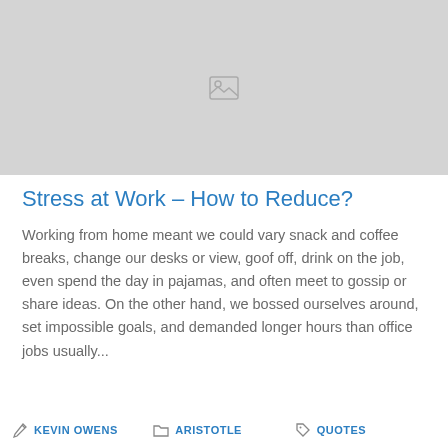[Figure (photo): Placeholder image with a broken image icon on a gray background]
Stress at Work – How to Reduce?
Working from home meant we could vary snack and coffee breaks, change our desks or view, goof off, drink on the job, even spend the day in pajamas, and often meet to gossip or share ideas. On the other hand, we bossed ourselves around, set impossible goals, and demanded longer hours than office jobs usually...
KEVIN OWENS   ARISTOTLE   QUOTES